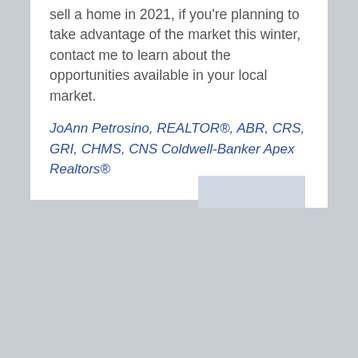sell a home in 2021, if you're planning to take advantage of the market this winter, contact me to learn about the opportunities available in your local market.
JoAnn Petrosino, REALTOR®, ABR, CRS, GRI, CHMS, CNS Coldwell-Banker Apex Realtors®
0 Comments